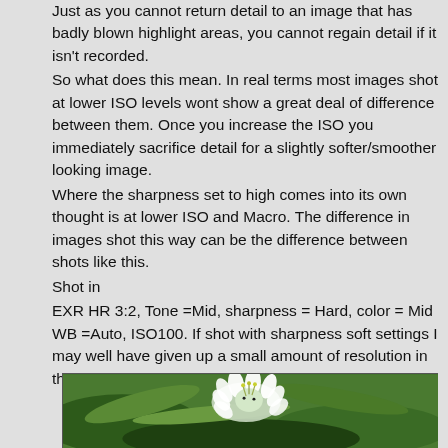Just as you cannot return detail to an image that has badly blown highlight areas, you cannot regain detail if it isn't recorded.
So what does this mean. In real terms most images shot at lower ISO levels wont show a great deal of difference between them. Once you increase the ISO you immediately sacrifice detail for a slightly softer/smoother looking image.
Where the sharpness set to high comes into its own thought is at lower ISO and Macro. The difference in images shot this way can be the difference between shots like this.
Shot in
EXR HR 3:2, Tone =Mid, sharpness = Hard, color = Mid WB =Auto, ISO100. If shot with sharpness soft settings I may well have given up a small amount of resolution in this image.
[Figure (photo): Close-up macro photograph of a white flower with small petals and green leaves in background]